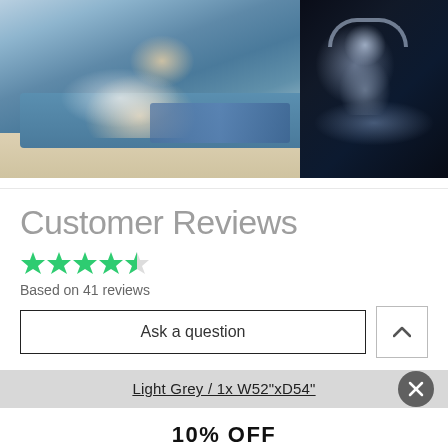[Figure (photo): Two photos side by side: left shows a woman lying on a couch with headphones; right shows a person in a dark room with headphones using a laptop]
Customer Reviews
★★★★½ Based on 41 reviews
Ask a question
Light Grey / 1x W52"xD54"
10% OFF
SAVE NOW!